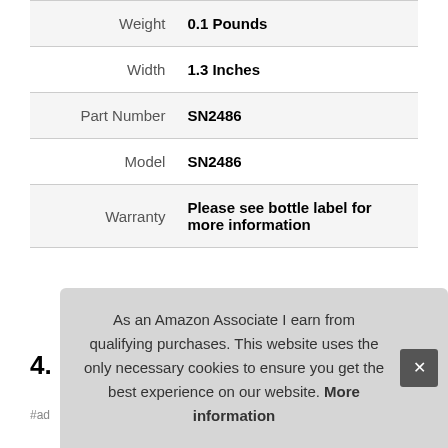| Attribute | Value |
| --- | --- |
| Weight | 0.1 Pounds |
| Width | 1.3 Inches |
| Part Number | SN2486 |
| Model | SN2486 |
| Warranty | Please see bottle label for more information |
More information #ad
4.
#ad
As an Amazon Associate I earn from qualifying purchases. This website uses the only necessary cookies to ensure you get the best experience on our website. More information